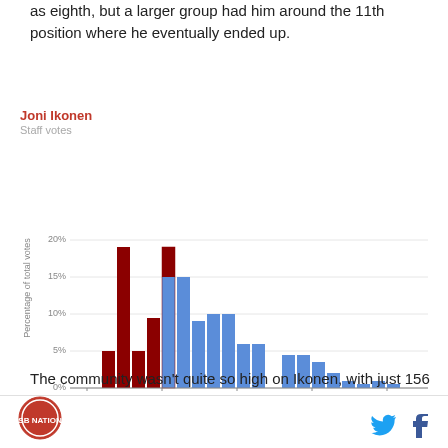as eighth, but a larger group had him around the 11th position where he eventually ended up.
[Figure (bar-chart): Joni Ikonen]
The community wasn't quite so high on Ikonen, with just 156 ballots having him above his NCAA